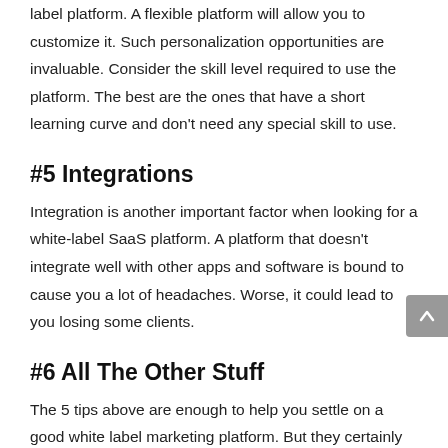label platform. A flexible platform will allow you to customize it. Such personalization opportunities are invaluable. Consider the skill level required to use the platform. The best are the ones that have a short learning curve and don't need any special skill to use.
#5 Integrations
Integration is another important factor when looking for a white-label SaaS platform. A platform that doesn't integrate well with other apps and software is bound to cause you a lot of headaches. Worse, it could lead to you losing some clients.
#6 All The Other Stuff
The 5 tips above are enough to help you settle on a good white label marketing platform. But they certainly